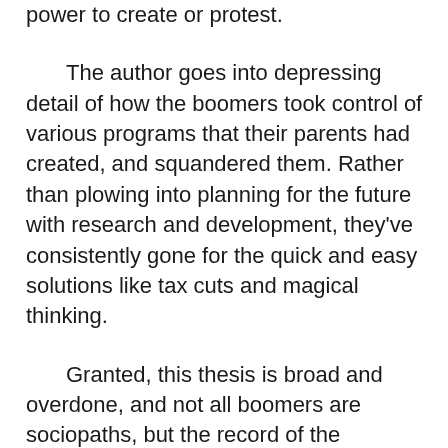power to create or protest.
The author goes into depressing detail of how the boomers took control of various programs that their parents had created, and squandered them. Rather than plowing into planning for the future with research and development, they've consistently gone for the quick and easy solutions like tax cuts and magical thinking.
Granted, this thesis is broad and overdone, and not all boomers are sociopaths, but the record of the leadership that Gibney details is damning.